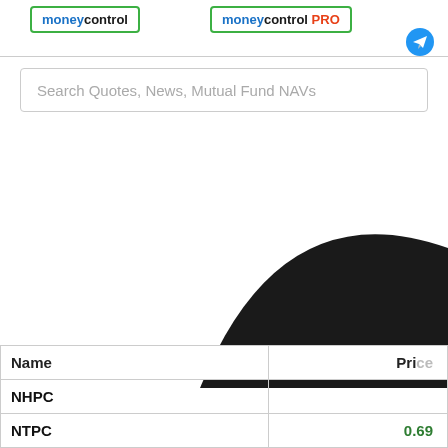[Figure (logo): Moneycontrol logo with green border]
[Figure (logo): Moneycontrol PRO logo with green border and red PRO text]
[Figure (illustration): Telegram icon - blue circle with paper plane]
Search Quotes, News, Mutual Fund NAVs
[Figure (illustration): Large dark/black curved shape visible in bottom-right portion of page]
| Name | Price |
| --- | --- |
| NHPC |  |
| NTPC | 0.69 |